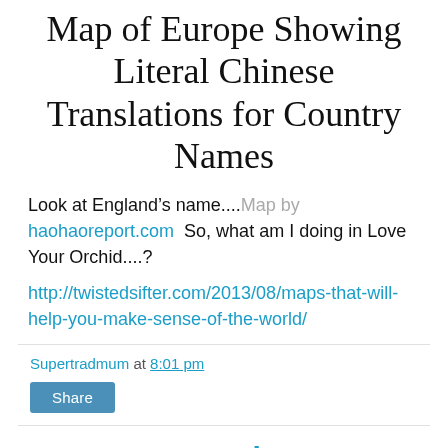Map of Europe Showing Literal Chinese Translations for Country Names
Look at England’s name....Map by haohaoreport.com  So, what am I doing in Love Your Orchid....?
http://twistedsifter.com/2013/08/maps-that-will-help-you-make-sense-of-the-world/
Supertradmum at 8:01 pm
Share
So, Are You Getting Concerned?
[Figure (other): Exhibit 3 image fragment showing text: By far the most rapid shift in the world’s economic center of gravity happened in 2000–10, reversing previous decades of development]